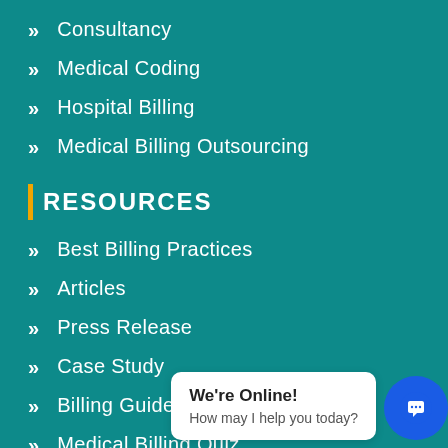Consultancy
Medical Coding
Hospital Billing
Medical Billing Outsourcing
RESOURCES
Best Billing Practices
Articles
Press Release
Case Study
Billing Guidelines
Medical Billing Quiz
Billing Bytes
We're Online! How may I help you today?